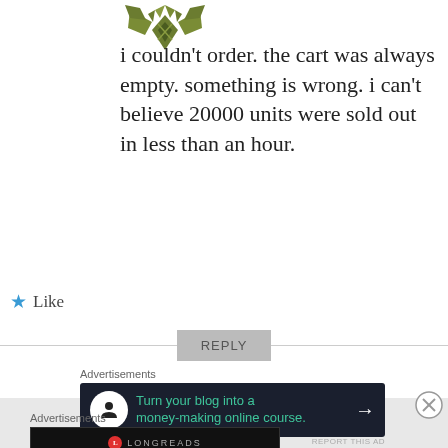[Figure (illustration): Dark olive/green stylized emblem avatar icon at top]
i couldn't order. the cart was always empty. something is wrong. i can't believe 20000 units were sold out in less than an hour.
★ Like
REPLY
[Figure (infographic): Advertisement banner: Turn your blog into a money-making online course. Dark background with green text and arrow icon.]
REPORT THIS AD
[Figure (infographic): Longreads advertisement: Read anything great lately? Dark background with Longreads logo.]
REPORT THIS AD